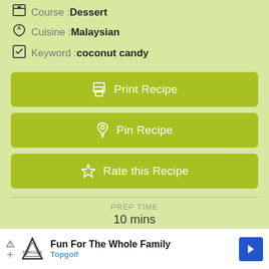Course : Dessert
Cuisine : Malaysian
Keyword : coconut candy
Print Recipe
Pin Recipe
Rate this Recipe
PREP TIME
10 mins
COOK TIME
20 mins
[Figure (screenshot): Advertisement banner: Fun For The Whole Family - Topgolf]